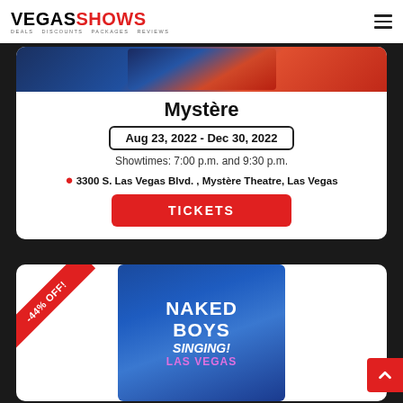VEGASSHOWS — DEALS DISCOUNTS PACKAGES REVIEWS
[Figure (screenshot): Mystère show promotional image partial view]
Mystère
Aug 23, 2022 - Dec 30, 2022
Showtimes: 7:00 p.m. and 9:30 p.m.
3300 S. Las Vegas Blvd. , Mystère Theatre, Las Vegas
TICKETS
[Figure (photo): Naked Boys Singing Las Vegas show promotional image with -44% OFF ribbon badge]